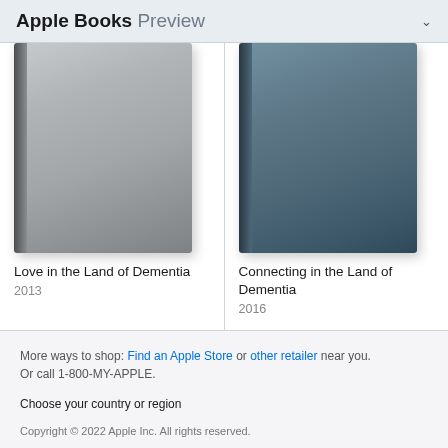Apple Books Preview
[Figure (illustration): Book cover for 'Love in the Land of Dementia' - gray/silver colored book cover with spine visible on left]
Love in the Land of Dementia
2013
[Figure (illustration): Book cover for 'Connecting in the Land of Dementia' - dark blue-gray colored book cover with spine visible on left]
Connecting in the Land of Dementia
2016
More ways to shop: Find an Apple Store or other retailer near you. Or call 1-800-MY-APPLE.
Choose your country or region
Copyright © 2022 Apple Inc. All rights reserved.
Privacy Policy | Terms of Use | Sales and Refunds | Legal | Site Map